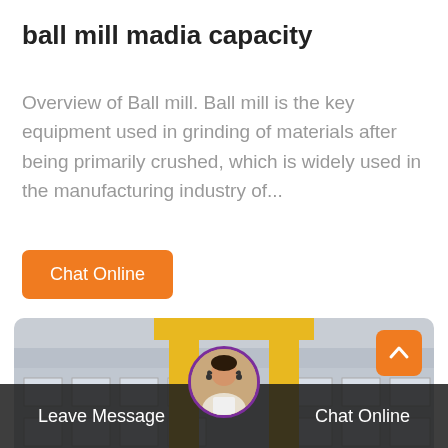ball mill madia capacity
Overview of Ball mill. Ball mill is the key equipment used in grinding of materials after being primarily crushed, which is widely used in the manufacturing industry of...
Chat Online
[Figure (photo): Industrial outdoor scene showing yellow crane structure and orange cylindrical ball mill equipment in front of a multi-story factory building]
Leave Message
Chat Online